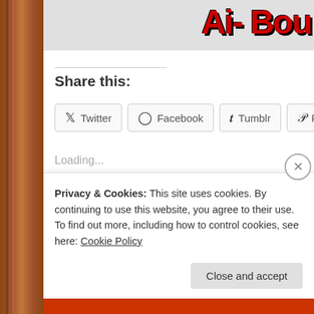[Figure (screenshot): Partial banner/logo image with red text on grey background at top right, partially cropped]
Share this:
Twitter | Facebook | Tumblr | Pinterest | Pocket (social share buttons)
Loading...
Posted by The Crazymad Writer on June 26, 2014 in humor, humour, Scary, Stories fo...
Tags: ali , bonkers , Dracula , duke , scary
Privacy & Cookies: This site uses cookies. By continuing to use this website, you agree to their use.
To find out more, including how to control cookies, see here: Cookie Policy
Close and accept